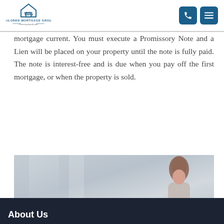TAILORED MORTGAGE GROUP — Financing that fits you.
mortgage current. You must execute a Promissory Note and a Lien will be placed on your property until the note is fully paid. The note is interest-free and is due when you pay off the first mortgage, or when the property is sold.
[Figure (photo): A woman with long hair looking down, photographed near a window with soft natural light, muted blue-grey tones]
About Us